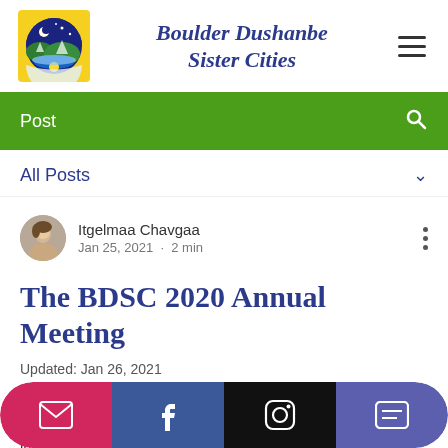[Figure (logo): Boulder Dushanbe Sister Cities logo: circular emblem with night sky, moon, mountains, lake and sun on yellow square background]
Boulder Dushanbe Sister Cities
Post
All Posts
Itgelmaa Chavgaa
Jan 25, 2021 · 2 min
The BDSC 2020 Annual Meeting
Updated: Jan 26, 2021
O... e
B... r
interested parties joined a Zoom meeting to